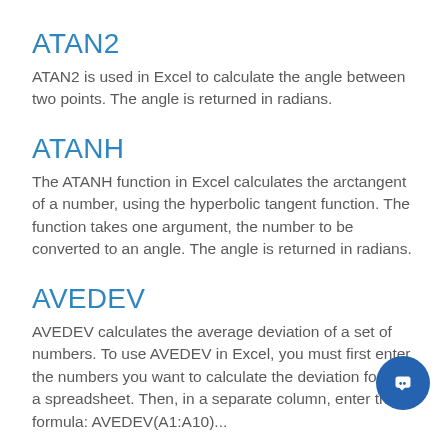ATAN2
ATAN2 is used in Excel to calculate the angle between two points. The angle is returned in radians.
ATANH
The ATANH function in Excel calculates the arctangent of a number, using the hyperbolic tangent function. The function takes one argument, the number to be converted to an angle. The angle is returned in radians.
AVEDEV
AVEDEV calculates the average deviation of a set of numbers. To use AVEDEV in Excel, you must first enter the numbers you want to calculate the deviation for into a spreadsheet. Then, in a separate column, enter the formula: AVEDEV(A1:A10)\u00a0—...